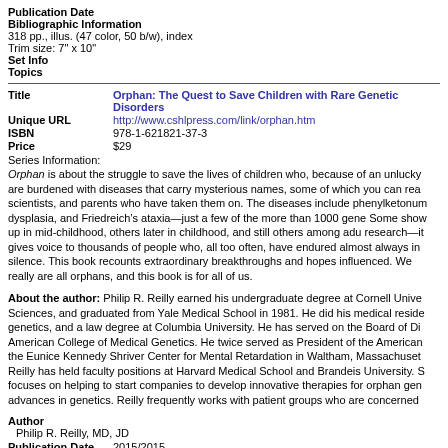Publication Date
Bibliographic Information
318 pp., illus. (47 color, 50 b/w), index
Trim size: 7" x 10"
Set Info
Topics
Title   Orphan: The Quest to Save Children with Rare Genetic Disorders
Unique URL   http://www.cshlpress.com/link/orphan.htm
ISBN   978-1-621821-37-3
Price   $29
Series Information:
Orphan is about the struggle to save the lives of children who, because of an unlucky are burdened with diseases that carry mysterious names, some of which you can rea scientists, and parents who have taken them on. The diseases include phenylketonum dysplasia, and Friedreich&#146;s ataxia&#151;just a few of the more than 1000 gene Some show up in mid-childhood, others later in childhood, and still others among adu research&#151;it gives voice to thousands of people who, all too often, have endured almost always in silence. This book recounts extraordinary breakthroughs and hopes influenced. We really are all orphans, and this book is for all of us.
About the author: Philip R. Reilly earned his undergraduate degree at Cornell Unive Sciences, and graduated from Yale Medical School in 1981. He did his medical reside genetics, and a law degree at Columbia University. He has served on the Board of Di American College of Medical Genetics. He twice served as President of the American the Eunice Kennedy Shriver Center for Mental Retardation in Waltham, Massachuset Reilly has held faculty positions at Harvard Medical School and Brandeis University. S focuses on helping to start companies to develop innovative therapies for orphan gen advances in genetics. Reilly frequently works with patient groups who are concerned
Author
Philip R. Reilly, MD, JD
Publication Date   2015/2015
Bibliographic Information
498 pages, illustrated (12 page insert of B&W images), index